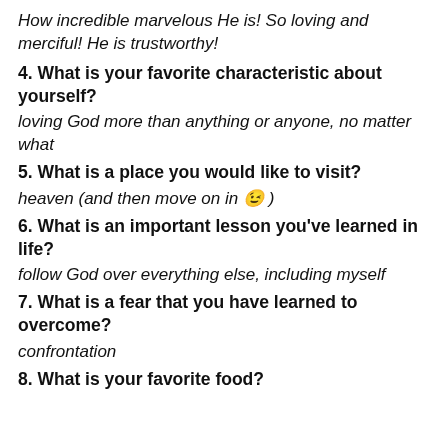How incredible marvelous He is! So loving and merciful! He is trustworthy!
4. What is your favorite characteristic about yourself?
loving God more than anything or anyone, no matter what
5. What is a place you would like to visit?
heaven (and then move on in 😉 )
6. What is an important lesson you've learned in life?
follow God over everything else, including myself
7. What is a fear that you have learned to overcome?
confrontation
8. What is your favorite food?